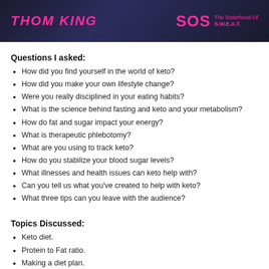[Figure (illustration): Banner image with dark background showing 'THOM KING' in pink italic bold text on the left and 'SOS The Sisterhood Of S.W.E.A.T.' logo in pink on the right]
Questions I asked:
How did you find yourself in the world of keto?
How did you make your own lifestyle change?
Were you really disciplined in your eating habits?
What is the science behind fasting and keto and your metabolism?
How do fat and sugar impact your energy?
What is therapeutic phlebotomy?
What are you using to track keto?
How do you stabilize your blood sugar levels?
What illnesses and health issues can keto help with?
Can you tell us what you've created to help with keto?
What three tips can you leave with the audience?
Topics Discussed:
Keto diet.
Protein to Fat ratio.
Making a diet plan.
How to find the nutrition that works for you.
Getting dedicated to health.